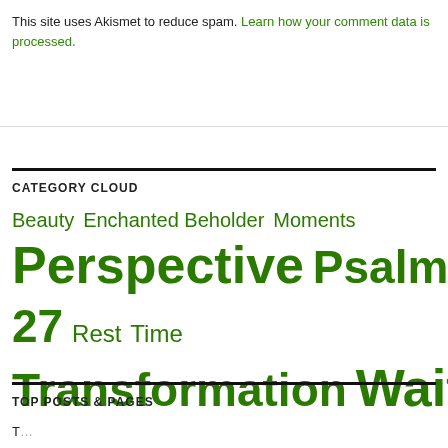This site uses Akismet to reduce spam. Learn how your comment data is processed.
CATEGORY CLOUD
Beauty  Enchanted Beholder  Moments  Perspective  Psalm 27  Rest  Time  Transformation  Waiting  Worship
TOP POSTS & PAGES
...